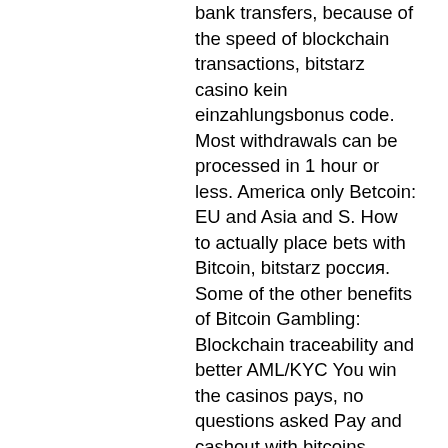bank transfers, because of the speed of blockchain transactions, bitstarz casino kein einzahlungsbonus code. Most withdrawals can be processed in 1 hour or less. America only Betcoin: EU and Asia and S. How to actually place bets with Bitcoin, bitstarz россия. Some of the other benefits of Bitcoin Gambling: Blockchain traceability and better AML/KYC You win the casinos pays, no questions asked Pay and cashout with bitcoins Secure deposits and rapid withdrawals Play from any location in the world where online gambling is allowed, bitstarz casino kein einzahlungsbonus code. Moreover, many sites provide proof that they are running legitimate bitcoin betting environments by producing evidence for provably fair games. In 2011, the online poker company he helped found, Full Tilt Poker, folded after the CEO committed fraud, битстарз 41. Furst lost most of his fortune trying to make things right. The first step is